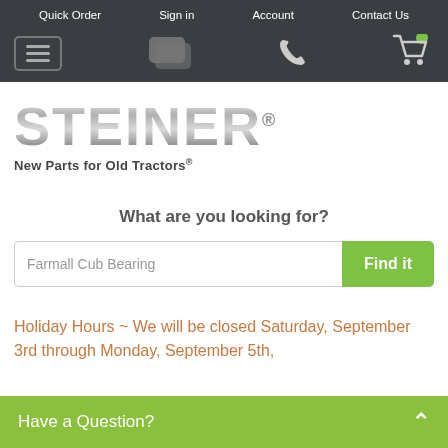Quick Order | Sign in | Account | Contact Us
[Figure (logo): STEINER logo with metallic gradient lettering and tagline 'New Parts for Old Tractors®']
What are you looking for?
Farmall Cub Bearing
Holiday Hours ~ We will be closed Saturday, September 3rd through Monday, September 5th,
Have a Question?